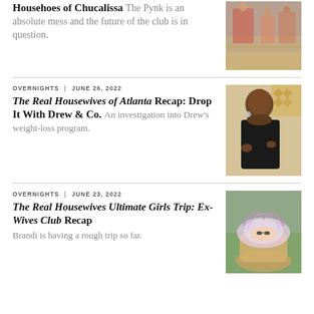Househoes of Chucalissa
The Pynk is an absolute mess and the future of the club is in question.
[Figure (photo): Group of people seated outdoors, street scene]
OVERNIGHTS | JUNE 26, 2022
The Real Housewives of Atlanta Recap: Drop It With Drew & Co.
An investigation into Drew's weight-loss program.
[Figure (photo): Woman in black turtleneck smiling, gesturing with hands]
OVERNIGHTS | JUNE 23, 2022
The Real Housewives Ultimate Girls Trip: Ex-Wives Club Recap
Brandi is having a rough trip so far.
[Figure (photo): Person relaxing in a large gift basket outdoors]